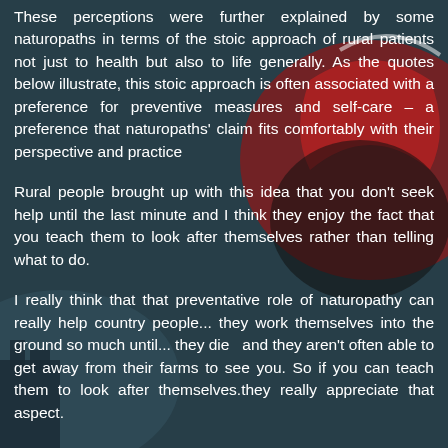These perceptions were further explained by some naturopaths in terms of the stoic approach of rural patients not just to health but also to life generally. As the quotes below illustrate, this stoic approach is often associated with a preference for preventive measures and self-care – a preference that naturopaths' claim fits comfortably with their perspective and practice
Rural people brought up with this idea that you don't seek help until the last minute and I think they enjoy the fact that you teach them to look after themselves rather than telling what to do.
I really think that that preventative role of naturopathy can really help country people... they work themselves into the ground so much until... they die  and they aren't often able to get away from their farms to see you. So if you can teach them to look after themselves.they really appreciate that aspect.